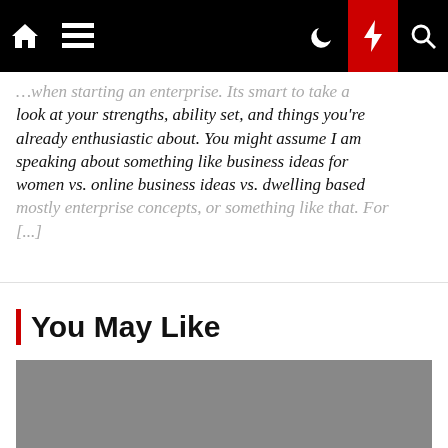Navigation bar with home, menu, dark mode, lightning, and search icons
...when starting an enterprise. Its smart to take a look at your strengths, ability set, and things you're already enthusiastic about. You might assume I am speaking about something like business ideas for women vs. online business ideas vs. dwelling based mostly enterprise concepts, or something like that. For [...]
You May Like
[Figure (photo): Gray placeholder image thumbnail]